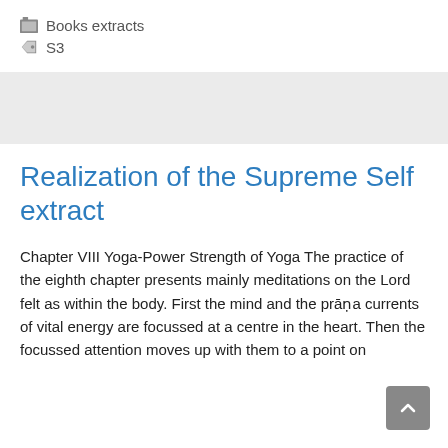Books extracts
S3
Realization of the Supreme Self extract
Chapter VIII Yoga-Power Strength of Yoga The practice of the eighth chapter presents mainly meditations on the Lord felt as within the body. First the mind and the prāṇa currents of vital energy are focussed at a centre in the heart. Then the focussed attention moves up with them to a point on